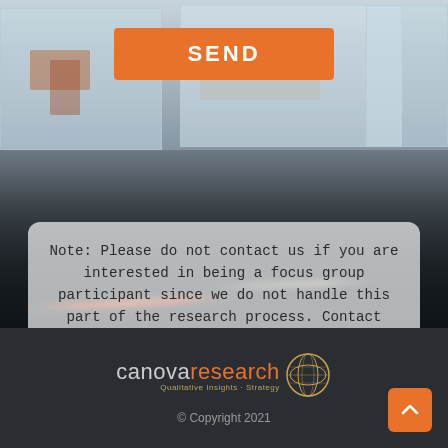[Figure (photo): Background photo of an office interior / lobby with glass doors and a road/car light streak at night]
SEND
Note: Please do not contact us if you are interested in being a focus group participant since we do not handle this part of the research process. Contact your local focus group facility and ask to be added to their database. Thank you.
[Figure (logo): Canova Research logo with globe graphic and tagline 'Qualitative Insights Strategy']
© Copyright 2021